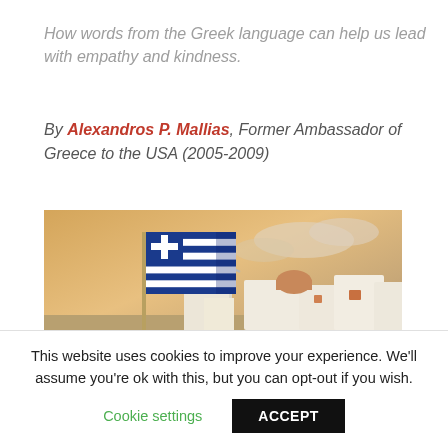How words from the Greek language can help us lead with empathy and kindness.
By Alexandros P. Mallias, Former Ambassador of Greece to the USA (2005-2009)
[Figure (photo): Photo of a Greek flag waving in front of the white buildings and dome structures of Santorini, Greece, at sunset with a warm golden sky.]
This website uses cookies to improve your experience. We'll assume you're ok with this, but you can opt-out if you wish.
Cookie settings   ACCEPT